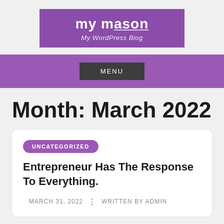my mason — My WordPress Blog
Month: March 2022
UNCATEGORIZED
Entrepreneur Has The Response To Everything.
MARCH 31, 2022 ⋮ WRITTEN BY ADMIN